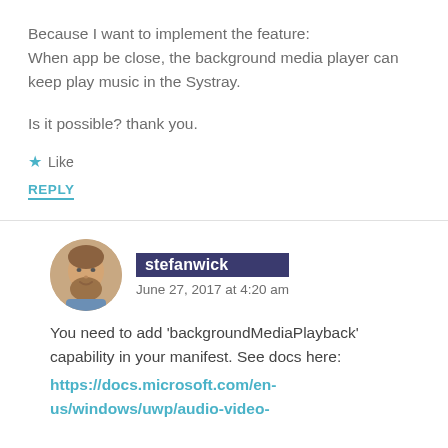Because I want to implement the feature:
When app be close, the background media player can keep play music in the Systray.

Is it possible? thank you.
★ Like
REPLY
stefanwick
June 27, 2017 at 4:20 am
You need to add 'backgroundMediaPlayback' capability in your manifest. See docs here:
https://docs.microsoft.com/en-us/windows/uwp/audio-video-